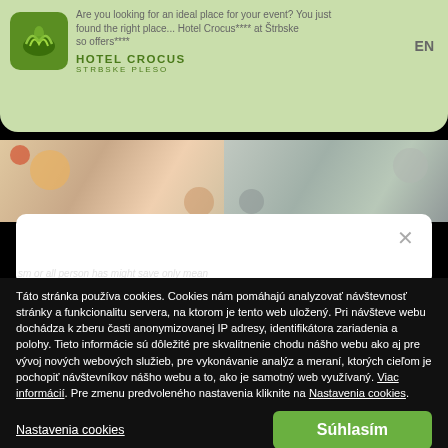[Figure (screenshot): Hotel Crocus website header with green banner showing hotel logo, name 'HOTEL CROCUS**** STRBSKE PLESO', and text 'Are you looking for an ideal place for your event? You just found the right place... Hotel Crocus**** at Štrbske so offers****'. EN language selector visible top right.]
[Figure (photo): Two photos of children/people partially visible as a photo strip below the green banner.]
[Figure (screenshot): White card with close X button and blurred text visible behind cookie overlay.]
Táto stránka používa cookies. Cookies nám pomáhajú analyzovať návštevnosť stránky a funkcionalitu servera, na ktorom je tento web uložený. Pri návšteve webu dochádza k zberu časti anonymizovanej IP adresy, identifikátora zariadenia a polohy. Tieto informácie sú dôležité pre skvalitnenie chodu nášho webu ako aj pre vývoj nových webových služieb, pre vykonávanie analýz a meraní, ktorých cieľom je pochopiť návštevníkov nášho webu a to, ako je samotný web využívaný. Viac informácií. Pre zmenu predvoleného nastavenia kliknite na Nastavenia cookies.
Nastavenia cookies
Súhlasím